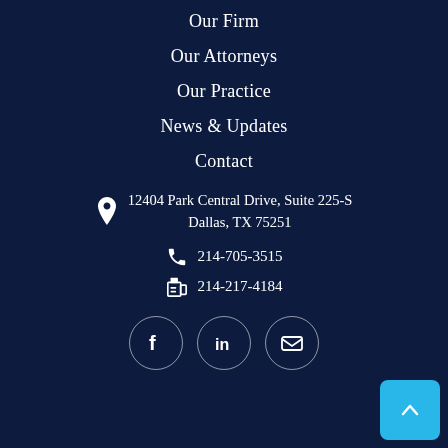Our Firm
Our Attorneys
Our Practice
News & Updates
Contact
12404 Park Central Drive, Suite 225-S Dallas, TX 75251
214-705-3515
214-217-4184
[Figure (other): Social media icons: Facebook, LinkedIn, Email in circular borders]
[Figure (other): Back to top button (cyan/blue square with upward chevron arrow)]